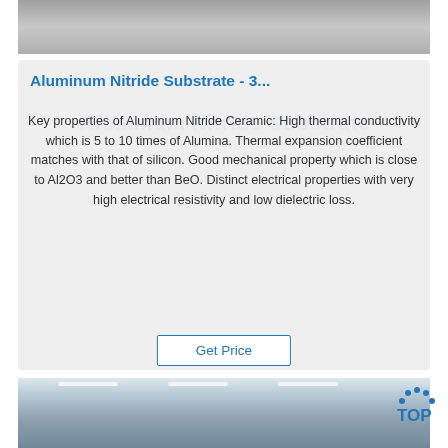[Figure (photo): Top portion of a photo showing feet/shoes of people standing near a large flat aluminum nitride substrate on a factory floor]
Aluminum Nitride Substrate - 3...
Key properties of Aluminum Nitride Ceramic: High thermal conductivity which is 5 to 10 times of Alumina. Thermal expansion coefficient matches with that of silicon. Good mechanical property which is close to Al2O3 and better than BeO. Distinct electrical properties with very high electrical resistivity and low dielectric loss.
Get Price
[Figure (photo): Interior of an industrial warehouse or factory with large cylindrical metal rolls/tubes, high ceiling with skylights and fluorescent lighting]